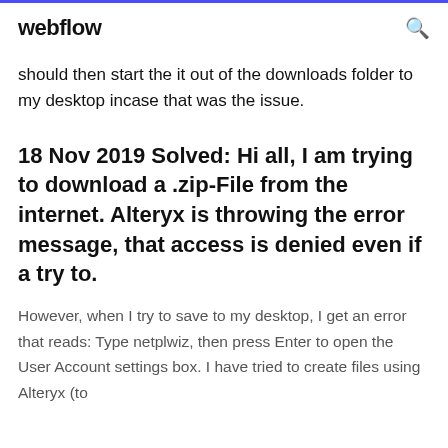webflow
should then start the it out of the downloads folder to my desktop incase that was the issue.
18 Nov 2019 Solved: Hi all, I am trying to download a .zip-File from the internet. Alteryx is throwing the error message, that access is denied even if a try to.
However, when I try to save to my desktop, I get an error that reads: Type netplwiz, then press Enter to open the User Account settings box. I have tried to create files using Alteryx (to